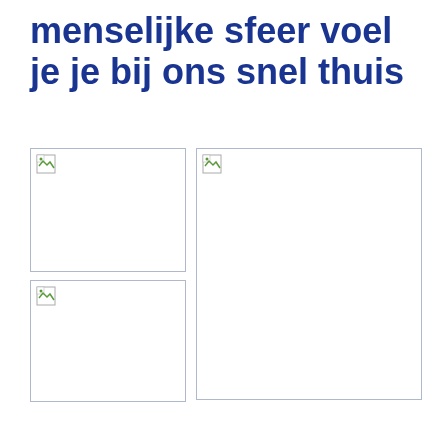menselijke sfeer voel je je bij ons snel thuis
[Figure (photo): Placeholder image (broken/missing) - top left small photo]
[Figure (photo): Placeholder image (broken/missing) - bottom left small photo]
[Figure (photo): Placeholder image (broken/missing) - large right photo]